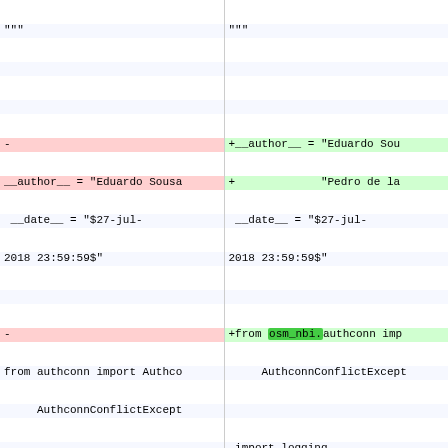Diff view of authconn_keystone.py showing removed and added lines
Left column (old): removed lines in red, right column (new): added lines in green. Code diff showing __author__, __date__, import changes, and class definition.